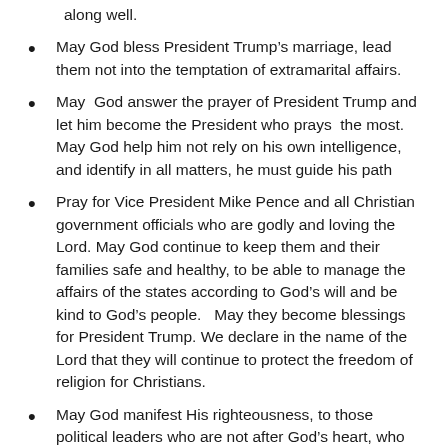along well.
May God bless President Trump’s marriage, lead them not into the temptation of extramarital affairs.
May God answer the prayer of President Trump and let him become the President who prays the most. May God help him not rely on his own intelligence, and identify in all matters, he must guide his path
Pray for Vice President Mike Pence and all Christian government officials who are godly and loving the Lord. May God continue to keep them and their families safe and healthy, to be able to manage the affairs of the states according to God’s will and be kind to God’s people.  May they become blessings for President Trump. We declare in the name of the Lord that they will continue to protect the freedom of religion for Christians.
May God manifest His righteousness, to those political leaders who are not after God’s heart, who